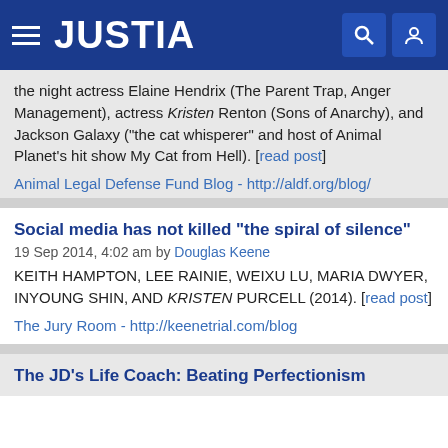JUSTIA
the night actress Elaine Hendrix (The Parent Trap, Anger Management), actress Kristen Renton (Sons of Anarchy), and Jackson Galaxy (“the cat whisperer” and host of Animal Planet’s hit show My Cat from Hell). [read post]
Animal Legal Defense Fund Blog - http://aldf.org/blog/
Social media has not killed “the spiral of silence”
19 Sep 2014, 4:02 am by Douglas Keene
KEITH HAMPTON, LEE RAINIE, WEIXU LU, MARIA DWYER, INYOUNG SHIN, AND KRISTEN PURCELL (2014). [read post]
The Jury Room - http://keenetrial.com/blog
The JD’s Life Coach: Beating Perfectionism